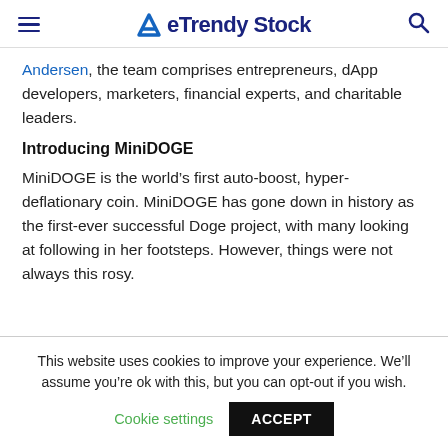eTrendy Stock
Andersen, the team comprises entrepreneurs, dApp developers, marketers, financial experts, and charitable leaders.
Introducing MiniDOGE
MiniDOGE is the world’s first auto-boost, hyper-deflationary coin. MiniDOGE has gone down in history as the first-ever successful Doge project, with many looking at following in her footsteps. However, things were not always this rosy.
This website uses cookies to improve your experience. We’ll assume you’re ok with this, but you can opt-out if you wish.
Cookie settings | ACCEPT